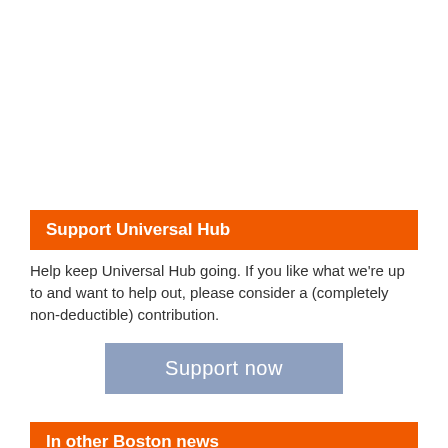Support Universal Hub
Help keep Universal Hub going. If you like what we're up to and want to help out, please consider a (completely non-deductible) contribution.
[Figure (other): Support now button — a muted blue rectangular button with white text reading 'Support now']
In other Boston news
Boston was very shouty this week
Bluebikes were supposed to be an Orange Line alternative, but